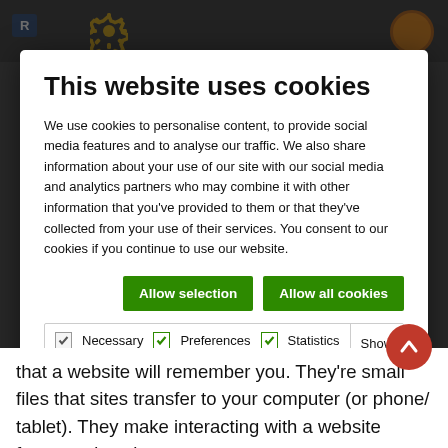[Figure (screenshot): Cookie consent modal overlay on a website. Top dark bar with gear icon. Modal with title, body text, two green buttons, and cookie option checkboxes. Background page text partially visible below.]
This website uses cookies
We use cookies to personalise content, to provide social media features and to analyse our traffic. We also share information about your use of our site with our social media and analytics partners who may combine it with other information that you've provided to them or that they've collected from your use of their services. You consent to our cookies if you continue to use our website.
Allow selection   Allow all cookies
Necessary   Preferences   Statistics   Marketing   Show details
that a website will remember you. They're sma…t files that sites transfer to your computer (or phone…blet). They make interacting with a website faster and easier – for example by automatically filling your name and